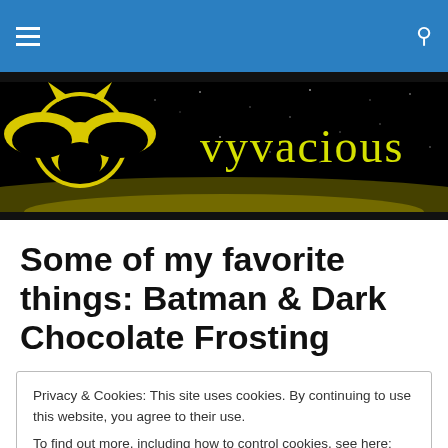Navigation bar with hamburger menu and search icon
[Figure (logo): Vyvacious blog banner with Batman logo on left and 'vyvacious' text in yellow handwritten font on black starfield background]
Some of my favorite things: Batman & Dark Chocolate Frosting
Privacy & Cookies: This site uses cookies. By continuing to use this website, you agree to their use.
To find out more, including how to control cookies, see here: Cookie Policy
Close and accept